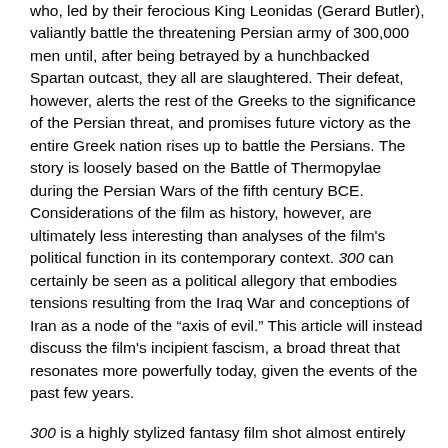who, led by their ferocious King Leonidas (Gerard Butler), valiantly battle the threatening Persian army of 300,000 men until, after being betrayed by a hunchbacked Spartan outcast, they all are slaughtered. Their defeat, however, alerts the rest of the Greeks to the significance of the Persian threat, and promises future victory as the entire Greek nation rises up to battle the Persians. The story is loosely based on the Battle of Thermopylae during the Persian Wars of the fifth century BCE. Considerations of the film as history, however, are ultimately less interesting than analyses of the film's political function in its contemporary context. 300 can certainly be seen as a political allegory that embodies tensions resulting from the Iraq War and conceptions of Iran as a node of the “axis of evil.” This article will instead discuss the film's incipient fascism, a broad threat that resonates more powerfully today, given the events of the past few years.
300 is a highly stylized fantasy film shot almost entirely on blue-screen soundstages with digital backgrounds added in postproduction. 300 is notable for its striking visual style, for its idealization of the courageous Greeks (all handsome men who sport muscular physiques and wear only tight leather “short shorts” and capes), and for its vulgarization of the invading Persians (represented as monstrous and/or effeminate).